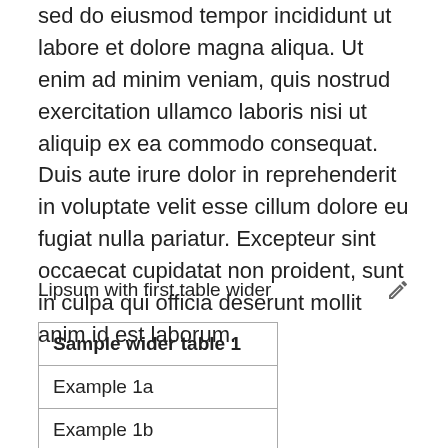sed do eiusmod tempor incididunt ut labore et dolore magna aliqua. Ut enim ad minim veniam, quis nostrud exercitation ullamco laboris nisi ut aliquip ex ea commodo consequat. Duis aute irure dolor in reprehenderit in voluptate velit esse cillum dolore eu fugiat nulla pariatur. Excepteur sint occaecat cupidatat non proident, sunt in culpa qui officia deserunt mollit anim id est laborum.
Lipsum with first table wider
| Sample wider table 1 |
| --- |
| Example 1a |
| Example 1b |
| Sample table 2 |
| --- |